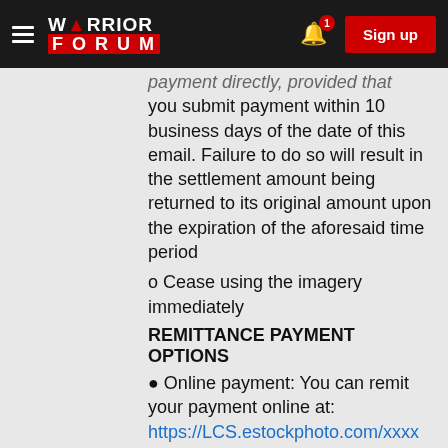WARRIOR FORUM — Sign up
payment directly, provided that you submit payment within 10 business days of the date of this email. Failure to do so will result in the settlement amount being returned to its original amount upon the expiration of the aforesaid time period
o Cease using the imagery immediately
REMITTANCE PAYMENT OPTIONS
● Online payment: You can remit your payment online at: https://LCS.estockphoto.com/xxxx
● Check payment: You can remit payment by check to: